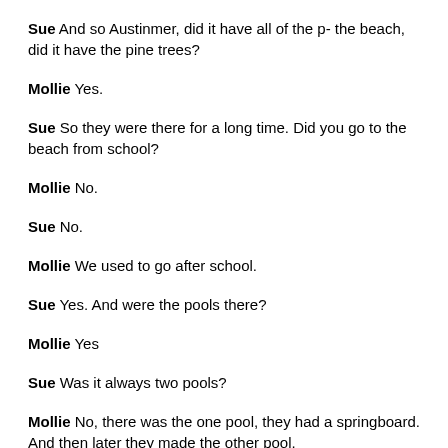Sue  And so Austinmer, did it have all of the p- the beach, did it have the pine trees?
Mollie  Yes.
Sue  So they were there for a long time. Did you go to the beach from school?
Mollie  No.
Sue  No.
Mollie  We used to go after school.
Sue  Yes. And were the pools there?
Mollie  Yes
Sue  Was it always two pools?
Mollie  No, there was the one pool, they had a springboard. And then later they made the other pool.